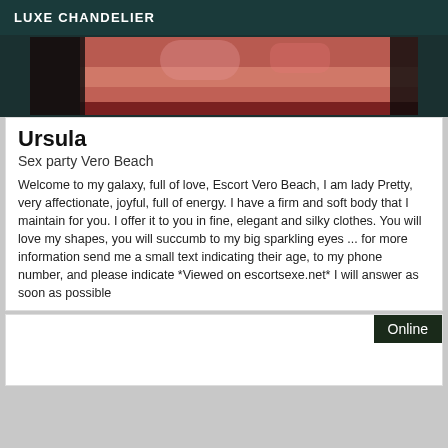LUXE CHANDELIER
[Figure (photo): Close-up photo strip showing skin tones with dark background edges and red fabric visible]
Ursula
Sex party Vero Beach
Welcome to my galaxy, full of love, Escort Vero Beach, I am lady Pretty, very affectionate, joyful, full of energy. I have a firm and soft body that I maintain for you. I offer it to you in fine, elegant and silky clothes. You will love my shapes, you will succumb to my big sparkling eyes ... for more information send me a small text indicating their age, to my phone number, and please indicate *Viewed on escortsexe.net* I will answer as soon as possible
Online